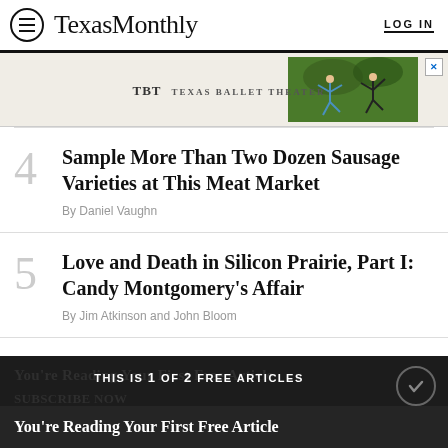TexasMonthly | LOG IN
[Figure (photo): Texas Ballet Theater advertisement banner with two ballet dancers on outdoor background]
4 Sample More Than Two Dozen Sausage Varieties at This Meat Market — By Daniel Vaughn
5 Love and Death in Silicon Prairie, Part I: Candy Montgomery's Affair — By Jim Atkinson and John Bloom
THIS IS 1 OF 2 FREE ARTICLES | You're Reading Your First Free Article | SUBSCRIBE NOW